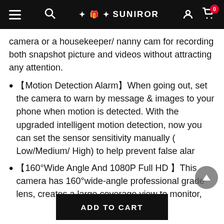SUNIROR
camera or a housekeeper/ nanny cam for recording both snapshot picture and videos without attracting any attention.
【Motion Detection Alarm】When going out, set the camera to warn by message & images to your phone when motion is detected. With the upgraded intelligent motion detection, now you can set the sensor sensitivity manually (Low/Medium/ High) to help prevent false alarms
【160°Wide Angle And 1080P Full HD 】This camera has 160°wide-angle professional grade lens, creates a large coverage view to monitor,